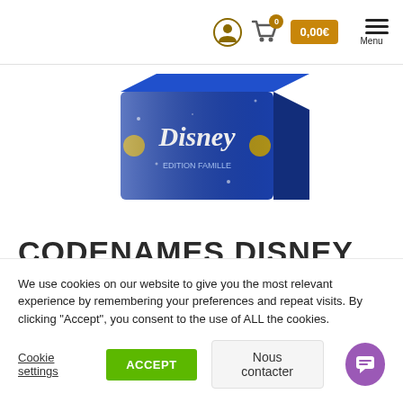0  0,00€  Menu
[Figure (photo): Codenames Disney board game box, blue packaging with Disney logo and golden accents, shown in 3/4 angle view]
CODENAMES DISNEY
23,50€ TTC
We use cookies on our website to give you the most relevant experience by remembering your preferences and repeat visits. By clicking "Accept", you consent to the use of ALL the cookies.
Cookie settings
ACCEPT
Nous contacter